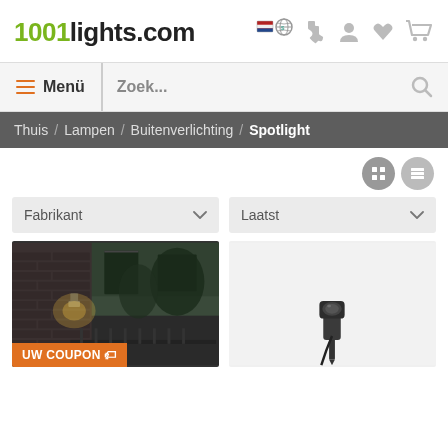1001lights.com
Menü | Zoek...
Thuis / Lampen / Buitenverlichting / Spotlight
Fabrikant
Laatst
[Figure (photo): Outdoor wall lamp mounted on dark brick facade of a house at dusk, illuminating the entrance.]
UW COUPON 🏷
[Figure (photo): Dark grey outdoor spotlight/stake light on white background.]